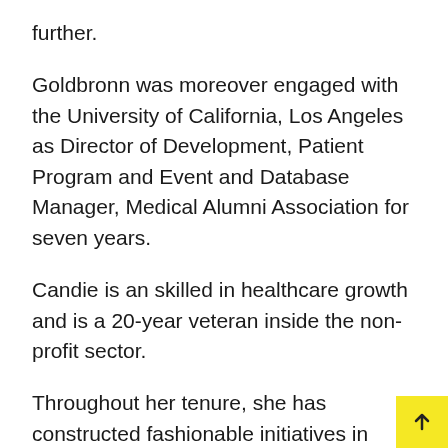further.
Goldbronn was moreover engaged with the University of California, Los Angeles as Director of Development, Patient Program and Event and Database Manager, Medical Alumni Association for seven years.
Candie is an skilled in healthcare growth and is a 20-year veteran inside the non-profit sector.
Throughout her tenure, she has constructed fashionable initiatives in diverse dimensions of effectively being sectors. She has moreover been an mandatory strategic advisor to Executives and Boards.